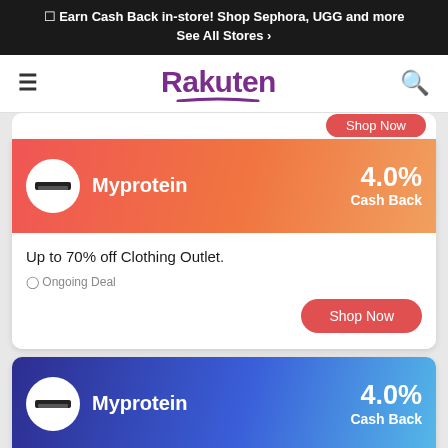☐ Earn Cash Back in-store! Shop Sephora, UGG and more See All Stores >
[Figure (logo): Rakuten logo with purple text and underline, flanked by hamburger menu icon and search icon]
Myprotein 4.0% Cash Back
Up to 70% off Clothing Outlet.
⊙ Ongoing Deal
Shop Now
Myprotein 4.0% Cash Back
Earn $35 for Every Friend Referred + 40% off for Your Friend.
⊙ Ongoing Deal
Shop Now